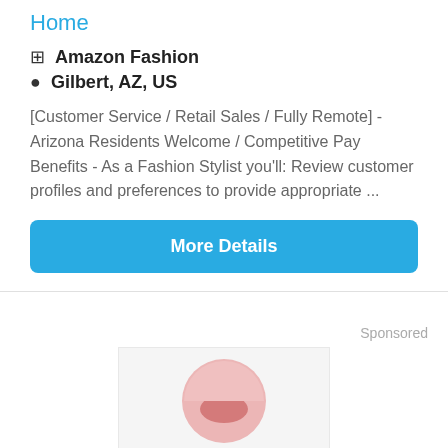Home
Amazon Fashion
Gilbert, AZ, US
[Customer Service / Retail Sales / Fully Remote] - Arizona Residents Welcome / Competitive Pay Benefits - As a Fashion Stylist you'll: Review customer profiles and preferences to provide appropriate ...
More Details
Sponsored
[Figure (logo): Pink circular logo placeholder image on light gray background]
Post Office Jobs: Hiring Immediately, Apply